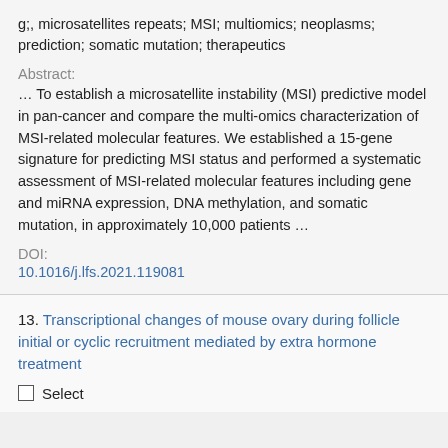g;, microsatellites repeats; MSI; multiomics; neoplasms; prediction; somatic mutation; therapeutics
Abstract:
… To establish a microsatellite instability (MSI) predictive model in pan-cancer and compare the multi-omics characterization of MSI-related molecular features. We established a 15-gene signature for predicting MSI status and performed a systematic assessment of MSI-related molecular features including gene and miRNA expression, DNA methylation, and somatic mutation, in approximately 10,000 patients …
DOI:
10.1016/j.lfs.2021.119081
13. Transcriptional changes of mouse ovary during follicle initial or cyclic recruitment mediated by extra hormone treatment
Select